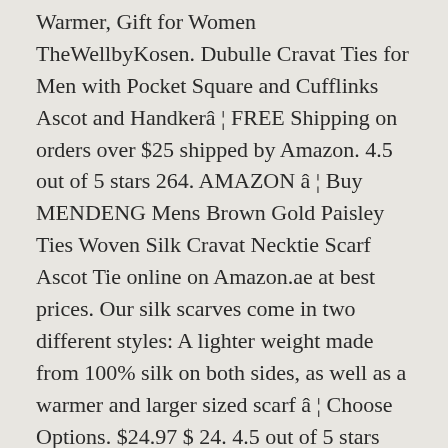Warmer, Gift for Women TheWellbyKosen. Dubulle Cravat Ties for Men with Pocket Square and Cufflinks Ascot and Handkerâ¦ FREE Shipping on orders over $25 shipped by Amazon. 4.5 out of 5 stars 264. AMAZON â¦ Buy MENDENG Mens Brown Gold Paisley Ties Woven Silk Cravat Necktie Scarf Ascot Tie online on Amazon.ae at best prices. Our silk scarves come in two different styles: A lighter weight made from 100% silk on both sides, as well as a warmer and larger sized scarf â¦ Choose Options. $24.97 $ 24. 4.5 out of 5 stars 15. MOHSLEE Men's Exquisite 4 Pack Cravat Floral Ascot Scarf Tie & Pocket Square Set. on sale for $11.24 original price $29.99 $ 11.24